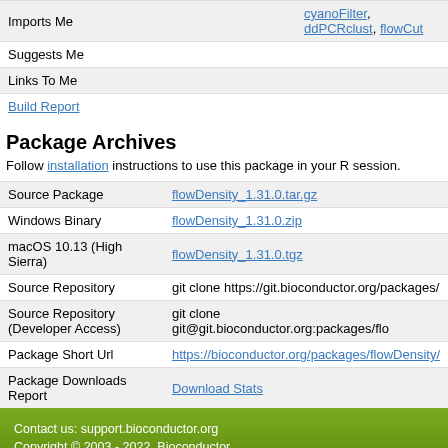|  |  |
| --- | --- |
| Imports Me | cyanoFilter, ddPCRclust, flowCut |
| Suggests Me |  |
| Links To Me |  |
| Build Report |  |
Package Archives
Follow installation instructions to use this package in your R session.
|  |  |
| --- | --- |
| Source Package | flowDensity_1.31.0.tar.gz |
| Windows Binary | flowDensity_1.31.0.zip |
| macOS 10.13 (High Sierra) | flowDensity_1.31.0.tgz |
| Source Repository | git clone https://git.bioconductor.org/packages/... |
| Source Repository (Developer Access) | git clone git@git.bioconductor.org:packages/flo... |
| Package Short Url | https://bioconductor.org/packages/flowDensity/... |
| Package Downloads Report | Download Stats |
Contact us: support.bioconductor.org
Copyright © 2003 - 2022, Bioconductor
Home    Install    Help
Install R    Workflows